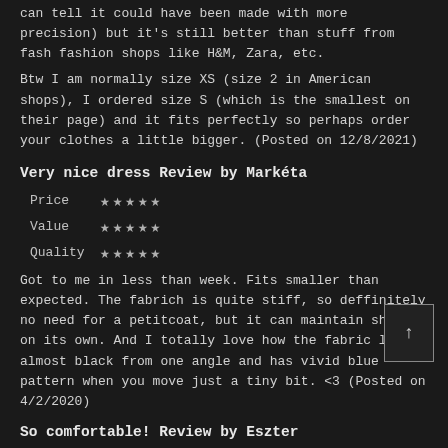can tell it could have been made with more precision) but it's still better than stuff from fash fashion shops like H&M, Zara, etc.
Btw I am normally size XS (size 2 in American shops), I ordered size S (which is the smallest on their page) and it fits perfectly so perhaps order your clothes a little bigger. (Posted on 12/8/2021)
Very nice dress Review by Markéta
Price ★★★★★
Value ★★★★★
Quality ★★★★★
Got to me in less than week. Fits smaller than expected. The fabrich is quite stiff, so deffinitely no need for a petitcoat, but it can maintain shape on its own. And I totally love how the fabric looks almost black from one angle and has vivid blue pattern when you move just a tiny bit. <3 (Posted on 4/2/2020)
So comfortable! Review by Eszter
Price ★★★★★
Value ★★★★★